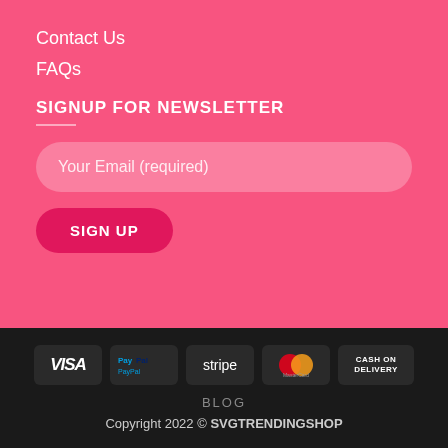Contact Us
FAQs
SIGNUP FOR NEWSLETTER
Your Email (required)
SIGN UP
[Figure (other): Payment method icons: VISA, PayPal, stripe, MasterCard, CASH ON DELIVERY]
BLOG
Copyright 2022 © SVGTRENDINGSHOP